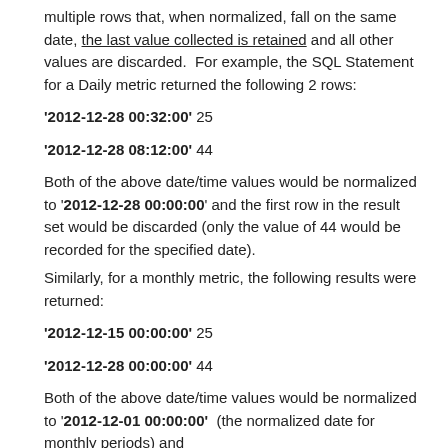multiple rows that, when normalized, fall on the same date, the last value collected is retained and all other values are discarded. For example, the SQL Statement for a Daily metric returned the following 2 rows:
'2012-12-28 00:32:00' 25
'2012-12-28 08:12:00' 44
Both of the above date/time values would be normalized to '2012-12-28 00:00:00' and the first row in the result set would be discarded (only the value of 44 would be recorded for the specified date).
Similarly, for a monthly metric, the following results were returned:
'2012-12-15 00:00:00' 25
'2012-12-28 00:00:00' 44
Both of the above date/time values would be normalized to '2012-12-01 00:00:00'  (the normalized date for monthly periods) and